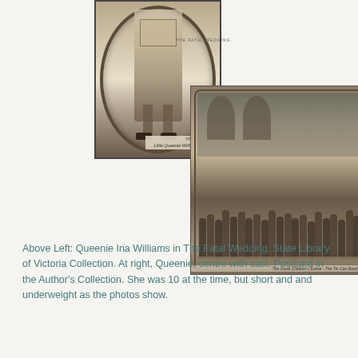[Figure (photo): Black and white postcard photo of Queenie Ina Williams in The Fatal Wedding, with decorative Art Nouveau oval frame. Shows a child figure from waist down carrying a box. Text at bottom: 'THE FATAL WEDDING' and 'Little Queenie Williams as Leader of the Tin Can Band'. State Library of Victoria Collection.]
[Figure (photo): Black and white postcard photo titled 'THE FATAL WEDDING' showing a large group of children on stage in costume for 'The Great Children's Scene - The Tin Can Band'. Art Nouveau decorative border. Postcard in the Author's Collection.]
Above Left: Queenie Ina Williams in The Fatal Wedding. State Library of Victoria Collection. At right, Queenie, centre with cast. Postcard in the Author's Collection. She was 10 at the time, but short and and underweight as the photos show.